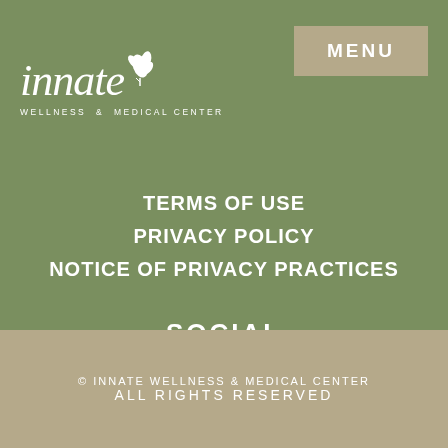[Figure (logo): Innate Wellness & Medical Center logo with cursive script and leaf/plant illustration in white on green background]
MENU
TERMS OF USE
PRIVACY POLICY
NOTICE OF PRIVACY PRACTICES
SOCIAL
FACEBOOK
GOOGLE
YELP!
© INNATE WELLNESS & MEDICAL CENTER
ALL RIGHTS RESERVED